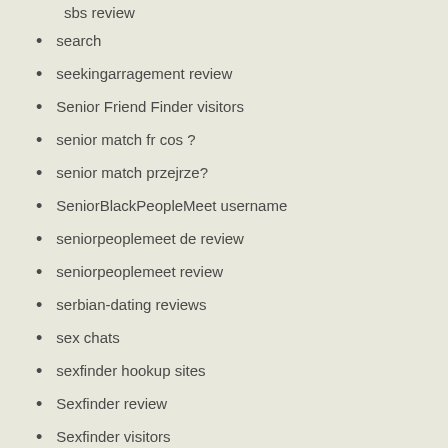sbs review
search
seekingarragement review
Senior Friend Finder visitors
senior match fr cos ?
senior match przejrze?
SeniorBlackPeopleMeet username
seniorpeoplemeet de review
seniorpeoplemeet review
serbian-dating reviews
sex chats
sexfinder hookup sites
Sexfinder review
Sexfinder visitors
sexsearch review